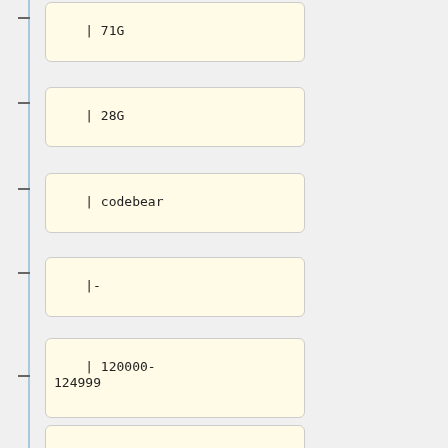| 71G
| 28G
| codebear
|-
| 120000-124999
| Done, [http://archive.org/details/FileplanetFiles_120000-124999 archived] (s3cmd leftovers, redo in 1000